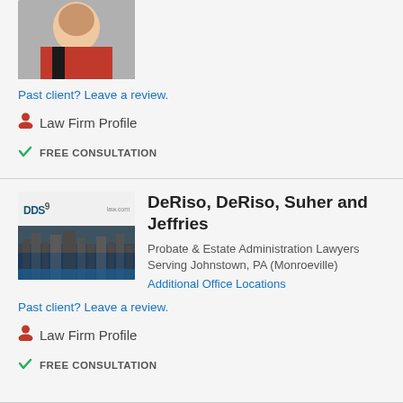[Figure (photo): Partial photo of a woman in a red jacket, cropped showing shoulders and face]
Past client? Leave a review.
Law Firm Profile
FREE CONSULTATION
[Figure (screenshot): Screenshot of DeRiso DeRiso Suher and Jeffries law firm website showing DDS9 logo and city skyline photo]
DeRiso, DeRiso, Suher and Jeffries
Probate & Estate Administration Lawyers
Serving Johnstown, PA (Monroeville)
Additional Office Locations
Past client? Leave a review.
Law Firm Profile
FREE CONSULTATION